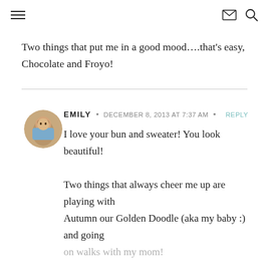≡  ✉ 🔍
Two things that put me in a good mood….that's easy, Chocolate and Froyo!
EMILY • DECEMBER 8, 2013 AT 7:37 AM • REPLY
I love your bun and sweater! You look beautiful!

Two things that always cheer me up are playing with Autumn our Golden Doodle (aka my baby :) and going on walks with my mom!